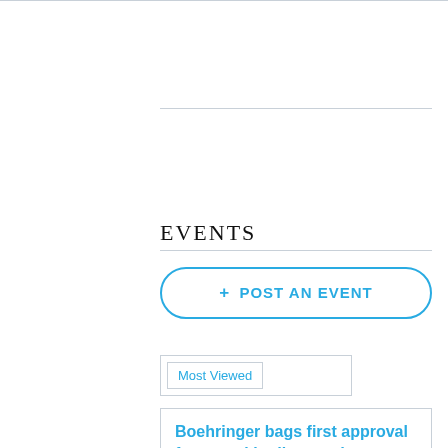EVENTS
+ POST AN EVENT
Most Viewed
Boehringer bags first approval for rare skin disease drug